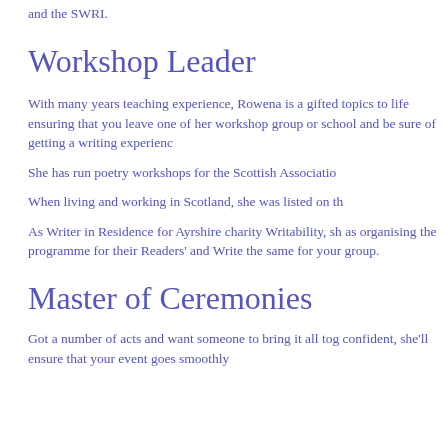and the SWRI.
Workshop Leader
With many years teaching experience, Rowena is a gifted topics to life ensuring that you leave one of her workshop group or school and be sure of getting a writing experienc
She has run poetry workshops for the Scottish Associatio
When living and working in Scotland, she was listed on th
As Writer in Residence for Ayrshire charity Writability, sh as organising the programme for their Readers' and Write the same for your group.
Master of Ceremonies
Got a number of acts and want someone to bring it all tog confident, she'll ensure that your event goes smoothly